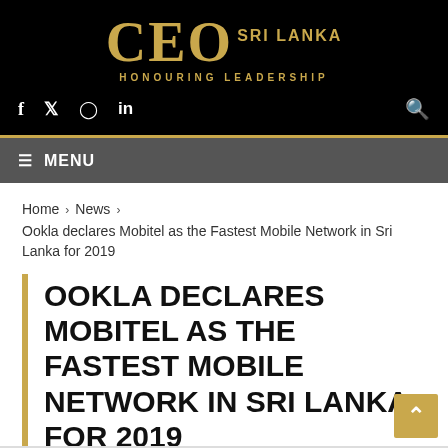CEO SRI LANKA — HONOURING LEADERSHIP
f  twitter  instagram  in
≡ MENU
Home › News › Ookla declares Mobitel as the Fastest Mobile Network in Sri Lanka for 2019
OOKLA DECLARES MOBITEL AS THE FASTEST MOBILE NETWORK IN SRI LANKA FOR 2019